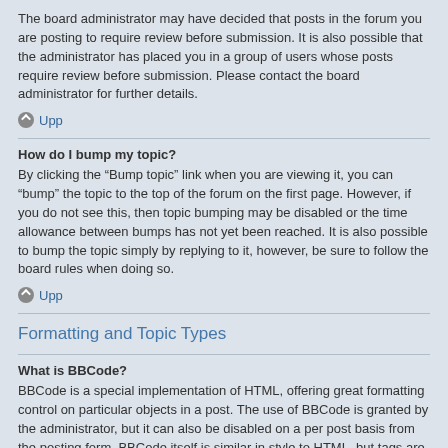The board administrator may have decided that posts in the forum you are posting to require review before submission. It is also possible that the administrator has placed you in a group of users whose posts require review before submission. Please contact the board administrator for further details.
Upp
How do I bump my topic?
By clicking the “Bump topic” link when you are viewing it, you can “bump” the topic to the top of the forum on the first page. However, if you do not see this, then topic bumping may be disabled or the time allowance between bumps has not yet been reached. It is also possible to bump the topic simply by replying to it, however, be sure to follow the board rules when doing so.
Upp
Formatting and Topic Types
What is BBCode?
BBCode is a special implementation of HTML, offering great formatting control on particular objects in a post. The use of BBCode is granted by the administrator, but it can also be disabled on a per post basis from the posting form. BBCode itself is similar in style to HTML, but tags are enclosed in square brackets [ and ] rather than < and >. For more information on BBCode see the guide which can be accessed from the posting page.